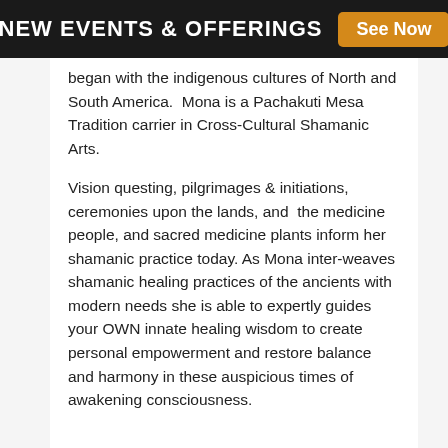NEW EVENTS & OFFERINGS  See Now
began with the indigenous cultures of North and South America.  Mona is a Pachakuti Mesa Tradition carrier in Cross-Cultural Shamanic Arts.
Vision questing, pilgrimages & initiations, ceremonies upon the lands, and  the medicine people, and sacred medicine plants inform her shamanic practice today. As Mona inter-weaves shamanic healing practices of the ancients with modern needs she is able to expertly guides your OWN innate healing wisdom to create personal empowerment and restore balance and harmony in these auspicious times of awakening consciousness.